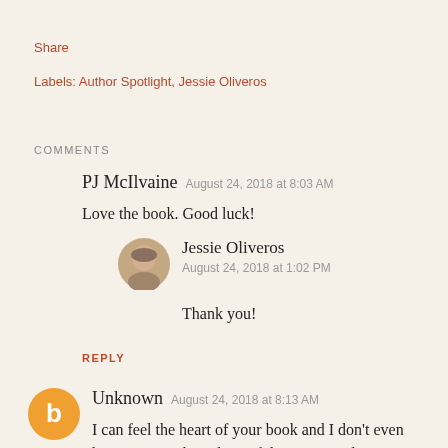Share
Labels: Author Spotlight, Jessie Oliveros
COMMENTS
PJ McIlvaine  August 24, 2018 at 8:03 AM
Love the book. Good luck!
Jessie Oliveros  August 24, 2018 at 1:02 PM
Thank you!
REPLY
Unknown  August 24, 2018 at 8:13 AM
I can feel the heart of your book and I don't even have it yet! What a beautiful concept and